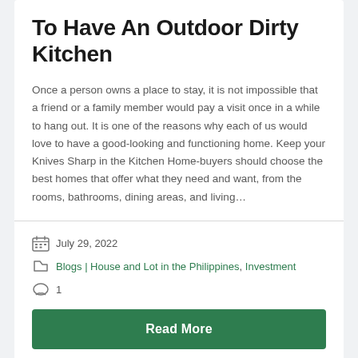To Have An Outdoor Dirty Kitchen
Once a person owns a place to stay, it is not impossible that a friend or a family member would pay a visit once in a while to hang out. It is one of the reasons why each of us would love to have a good-looking and functioning home. Keep your Knives Sharp in the Kitchen Home-buyers should choose the best homes that offer what they need and want, from the rooms, bathrooms, dining areas, and living…
July 29, 2022
Blogs | House and Lot in the Philippines, Investment
1
Read More